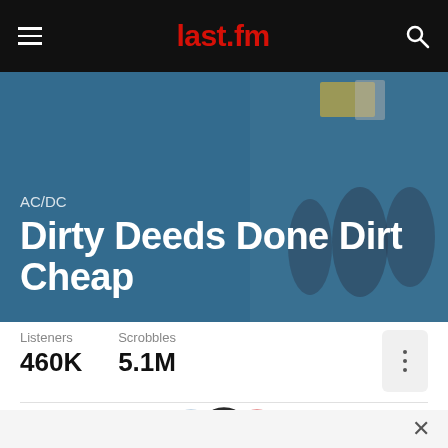last.fm
AC/DC
Dirty Deeds Done Dirt Cheap
Listeners 460K   Scrobbles 5.1M
[Figure (illustration): Three overlapping circular user avatar photos]
Join others and track this album